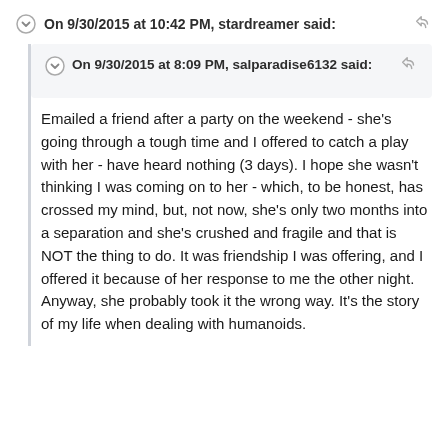On 9/30/2015 at 10:42 PM, stardreamer said:
On 9/30/2015 at 8:09 PM, salparadise6132 said:
Emailed a friend after a party on the weekend - she's going through a tough time and I offered to catch a play with her - have heard nothing (3 days).  I hope she wasn't thinking I was coming on to her - which, to be honest, has crossed my mind, but, not now, she's only two months into a separation and she's crushed and fragile and that is NOT the thing to do. It was friendship I was offering, and I offered it because of her response to me the other night.  Anyway, she probably took it the wrong way.  It's the story of my life when dealing with humanoids.